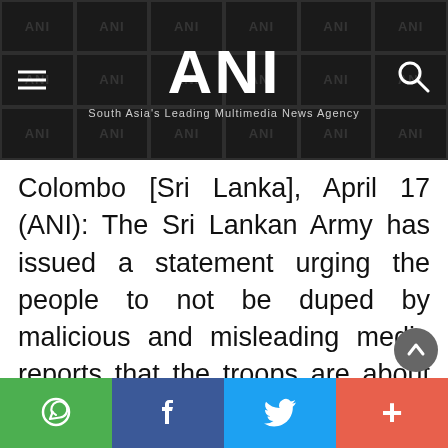ANI — South Asia's Leading Multimedia News Agency
Colombo [Sri Lanka], April 17 (ANI): The Sri Lankan Army has issued a statement urging the people to not be duped by malicious and misleading media reports that the troops are about to "cause violence in the ongoing protest", local media reported.
"As evident in the past few days, different elements and groups with vested interests are poised to insult the
Social share buttons: WhatsApp, Facebook, Twitter, More